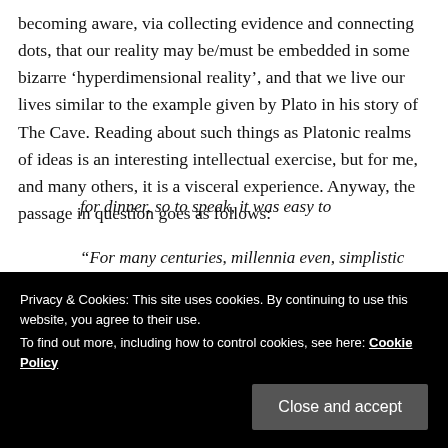becoming aware, via collecting evidence and connecting dots, that our reality may be/must be embedded in some bizarre 'hyperdimensional reality', and that we live our lives similar to the example given by Plato in his story of The Cave. Reading about such things as Platonic realms of ideas is an interesting intellectual exercise, but for me, and many others, it is a visceral experience. Anyway, the passage in question goes as follows:
“For many centuries, millennia even, simplistic religions and social
for dinner, so to speak, it was easy to
Privacy & Cookies: This site uses cookies. By continuing to use this website, you agree to their use. To find out more, including how to control cookies, see here: Cookie Policy